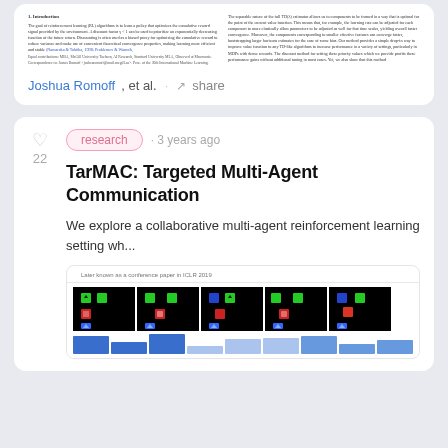[Figure (screenshot): Partial view of a research paper with two columns of text, showing introduction section with blue hyperlinks and author information]
Joshua Romoff, et al. · share
research · 3 years ago
TarMAC: Targeted Multi-Agent Communication
We explore a collaborative multi-agent reinforcement learning setting wh...
[Figure (screenshot): Preview of the TarMAC paper showing multi-agent grid world environments with colored agents rendered in dark backgrounds, and bar charts below]